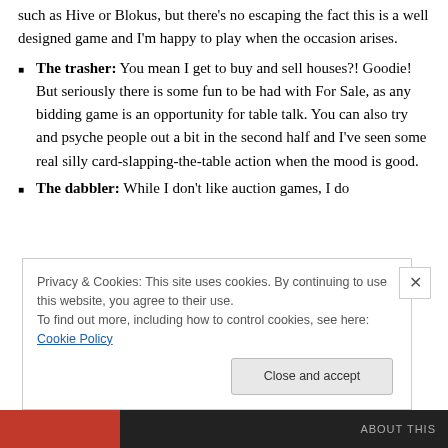such as Hive or Blokus, but there's no escaping the fact this is a well designed game and I'm happy to play when the occasion arises.
The trasher: You mean I get to buy and sell houses?! Goodie! But seriously there is some fun to be had with For Sale, as any bidding game is an opportunity for table talk. You can also try and psyche people out a bit in the second half and I've seen some real silly card-slapping-the-table action when the mood is good.
The dabbler: While I don't like auction games, I do
Privacy & Cookies: This site uses cookies. By continuing to use this website, you agree to their use.
To find out more, including how to control cookies, see here: Cookie Policy